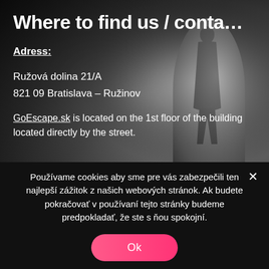[Figure (photo): Black and white background photo of a person silhouette at the end of a dark tunnel with light behind them]
Where to find us / conta…
Adress:
Ružová dolina 21/A
821 09 Bratislava – Ružinov
GoEscape.sk is located on the 1st floor of the building located directly by the street.
Používame cookies aby sme pre vás zabezpečili ten najlepší zážitok z našich webových stránok. Ak budete pokračovať v používaní tejto stránky budeme predpokladať, že ste s ňou spokojní.